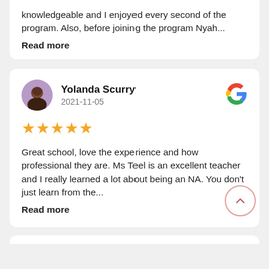knowledgeable and I enjoyed every second of the program. Also, before joining the program Nyah...
Read more
Yolanda Scurry
2021-11-05
[Figure (other): Five gold stars rating]
Great school, love the experience and how professional they are. Ms Teel is an excellent teacher and I really learned a lot about being an NA. You don't just learn from the...
Read more